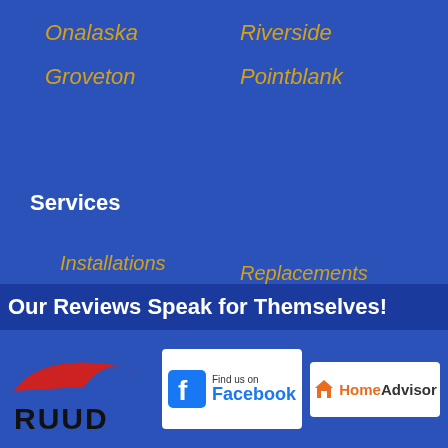Onalaska
Groveton
Riverside
Pointblank
Services
Installations
Maintenance & Repair
Replacements
FAQ
Our Reviews Speak for Themselves!
[Figure (logo): RUUD brand logo with red swoosh and black text]
[Figure (logo): Find us on Facebook badge with Facebook icon]
[Figure (logo): HomeAdvisor badge with orange house icon]